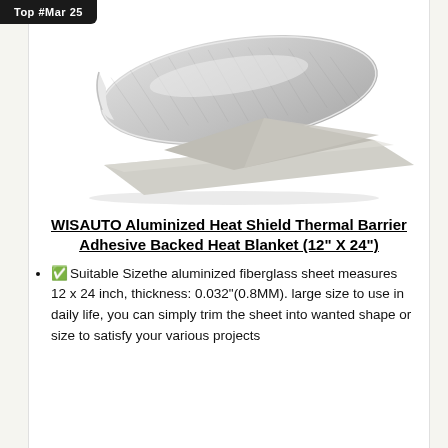Top #Mar 25
[Figure (photo): Product photo of WISAUTO aluminized heat shield thermal barrier adhesive backed heat blanket, shown rolled/partially unrolled revealing silver foil top and gray adhesive backing.]
WISAUTO Aluminized Heat Shield Thermal Barrier Adhesive Backed Heat Blanket (12" X 24")
✅​Suitable Size​the aluminized fiberglass sheet measures 12 x 24 inch, thickness: 0.032"(0.8MM). large size to use in daily life, you can simply trim the sheet into wanted shape or size to satisfy your various projects